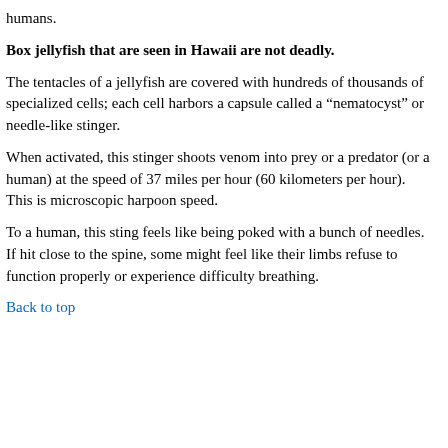humans.
Box jellyfish that are seen in Hawaii are not deadly.
The tentacles of a jellyfish are covered with hundreds of thousands of specialized cells; each cell harbors a capsule called a “nematocyst” or needle-like stinger.
When activated, this stinger shoots venom into prey or a predator (or a human) at the speed of 37 miles per hour (60 kilometers per hour). This is microscopic harpoon speed.
To a human, this sting feels like being poked with a bunch of needles. If hit close to the spine, some might feel like their limbs refuse to function properly or experience difficulty breathing.
Back to top